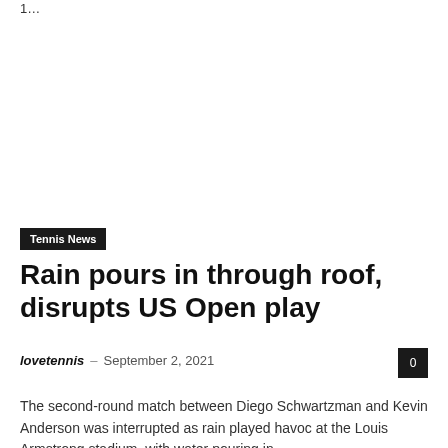1…
Tennis News
Rain pours in through roof, disrupts US Open play
lovetennis – September 2, 2021  0
The second-round match between Diego Schwartzman and Kevin Anderson was interrupted as rain played havoc at the Louis Armstrong stadium, with water pouring in…